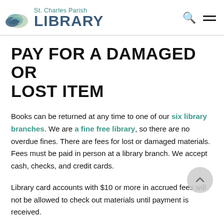St. Charles Parish LIBRARY
PAY FOR A DAMAGED OR LOST ITEM
Books can be returned at any time to one of our six library branches. We are a fine free library, so there are no overdue fines. There are fees for lost or damaged materials. Fees must be paid in person at a library branch. We accept cash, checks, and credit cards.
Library card accounts with $10 or more in accrued fees will not be allowed to check out materials until payment is received.